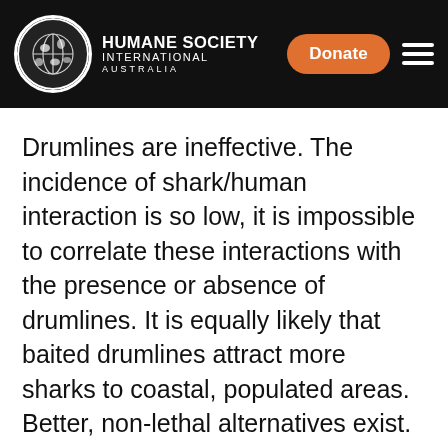HUMANE SOCIETY INTERNATIONAL AUSTRALIA
Drumlines are ineffective. The incidence of shark/human interaction is so low, it is impossible to correlate these interactions with the presence or absence of drumlines. It is equally likely that baited drumlines attract more sharks to coastal, populated areas. Better, non-lethal alternatives exist. Drone and aerial surveillance, personal shark deterrents and education all have great value in preventing the shark/human interactions the drumlines claim to defend against. In